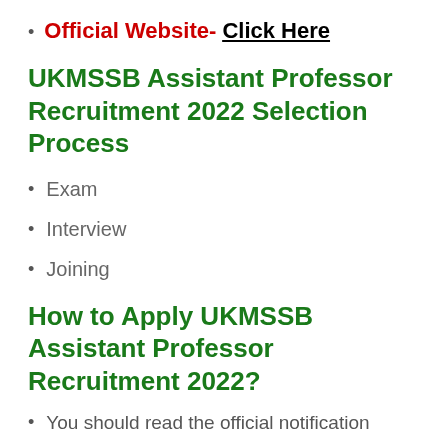Official Website- Click Here
UKMSSB Assistant Professor Recruitment 2022 Selection Process
Exam
Interview
Joining
How to Apply UKMSSB Assistant Professor Recruitment 2022?
You should read the official notification carefully first.